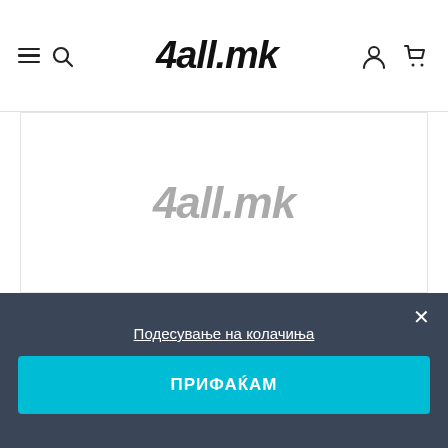4all.mk
[Figure (logo): 4all.mk product/placeholder logo shown in gray italic bold text centered in a white bordered area]
Подесување на колачиња
ПРИФАЌАМ